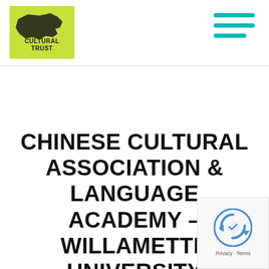Oregon Cultural Trust — Navigation header with logo and hamburger menu
CHINESE CULTURAL ASSOCIATION & LANGUAGE ACADEMY – WILLAMETTE UNIVERSITY
...